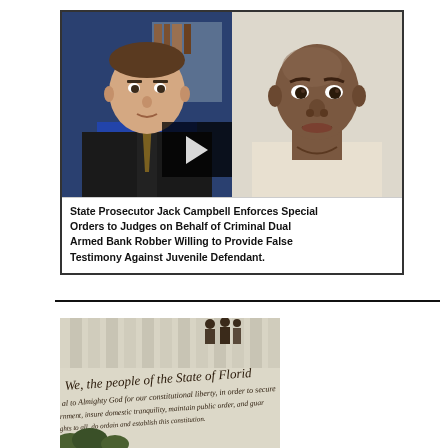[Figure (screenshot): Side-by-side image: left side shows a man in a blue shirt and dark suit jacket (news/video screenshot with a play button overlay), right side shows a mugshot-style photo of a bald Black man. Below the images is a caption text box.]
State Prosecutor Jack Campbell Enforces Special Orders to Judges on Behalf of Criminal Dual Armed Bank Robber Willing to Provide False Testimony Against Juvenile Defendant.
[Figure (photo): Photograph of a building facade with large columns and text reading 'We, the people of the State of Florid[a]' and further text about constitutional liberties and domestic tranquility — appears to be the Florida state capitol or courthouse exterior.]